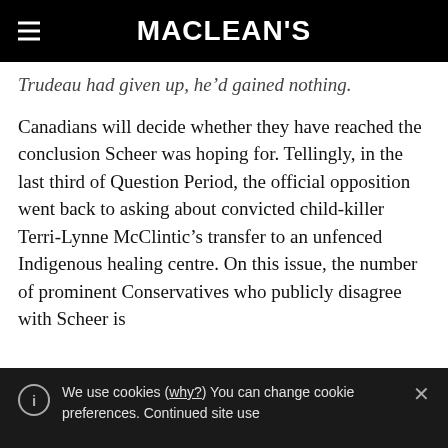MACLEAN'S
Trudeau had given up, he'd gained nothing.
Canadians will decide whether they have reached the conclusion Scheer was hoping for. Tellingly, in the last third of Question Period, the official opposition went back to asking about convicted child-killer Terri-Lynne McClintic's transfer to an unfenced Indigenous healing centre. On this issue, the number of prominent Conservatives who publicly disagree with Scheer is
We use cookies (why?) You can change cookie preferences. Continued site use